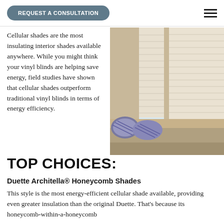REQUEST A CONSULTATION
Cellular shades are the most insulating interior shades available anywhere. While you might think your vinyl blinds are helping save energy, field studies have shown that cellular shades outperform traditional vinyl blinds in terms of energy efficiency.
[Figure (photo): Photo of cellular/honeycomb shades on a window with decorative pillows on a window seat below, in a bright room.]
TOP CHOICES:
Duette Architella® Honeycomb Shades
This style is the most energy-efficient cellular shade available, providing even greater insulation than the original Duette. That's because its honeycomb-within-a-honeycomb